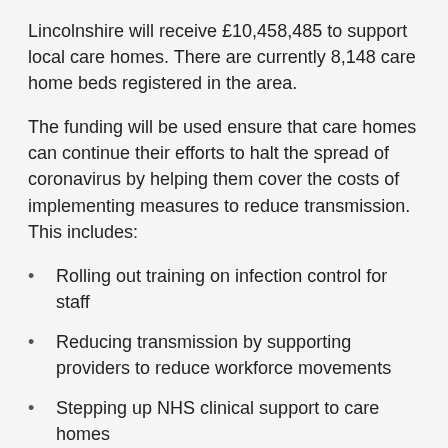Lincolnshire will receive £10,458,485 to support local care homes. There are currently 8,148 care home beds registered in the area.
The funding will be used ensure that care homes can continue their efforts to halt the spread of coronavirus by helping them cover the costs of implementing measures to reduce transmission. This includes:
Rolling out training on infection control for staff
Reducing transmission by supporting providers to reduce workforce movements
Stepping up NHS clinical support to care homes
The fund comes on top of £3.2 billion that has already been made available to local authorities to support key public services, including social care, since the start of the crisis. It forms part of a wider package of support